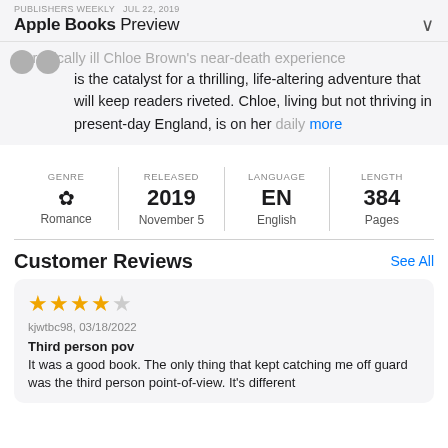PUBLISHERS WEEKLY  JUL 22, 2019 — Apple Books Preview
Chronically ill Chloe Brown's near-death experience is the catalyst for a thrilling, life-altering adventure that will keep readers riveted. Chloe, living but not thriving in present-day England, is on her daily more
| GENRE | RELEASED | LANGUAGE | LENGTH |
| --- | --- | --- | --- |
| Romance | 2019 November 5 | EN English | 384 Pages |
Customer Reviews
See All
kjwtbc98, 03/18/2022
Third person pov
It was a good book. The only thing that kept catching me off guard was the third person point-of-view. It's different